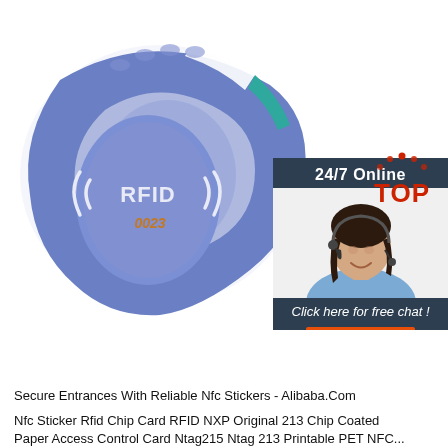[Figure (photo): Blue RFID silicone wristband with RFID chip symbol and number 0023 printed on the face, shown on white background. Overlaid with a customer service chat widget showing a smiling woman with headset, '24/7 Online' text, 'Click here for free chat!' text, and an orange 'QUOTATION' button. A red 'TOP' badge with dots appears bottom right.]
Secure Entrances With Reliable Nfc Stickers - Alibaba.Com
Nfc Sticker Rfid Chip Card RFID NXP Original 213 Chip Coated Paper Access Control Card Ntag215 Ntag 213 Printable PET NFC...